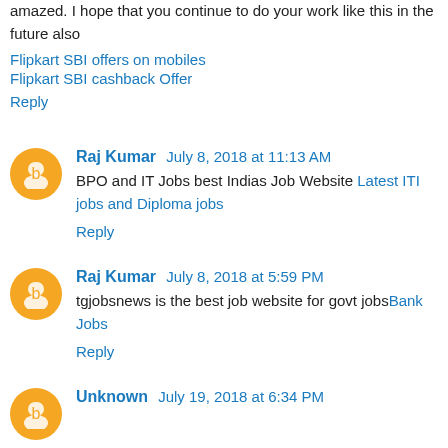amazed. I hope that you continue to do your work like this in the future also
Flipkart SBI offers on mobiles
Flipkart SBI cashback Offer
Reply
Raj Kumar  July 8, 2018 at 11:13 AM
BPO and IT Jobs best Indias Job Website Latest ITI jobs and Diploma jobs
Reply
Raj Kumar  July 8, 2018 at 5:59 PM
tgjobsnews is the best job website for govt jobsBank Jobs
Reply
Unknown  July 19, 2018 at 6:34 PM